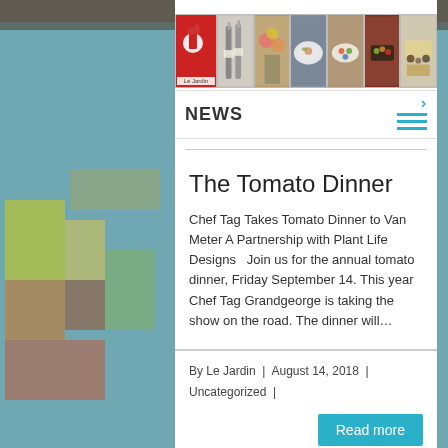[Figure (photo): Restaurant interior background with colorful artwork and hanging lights]
[Figure (photo): Navigation image strip showing 7 food/restaurant photos including Le Jardin logo, wine bottles, flowers, plated dishes, and cheese]
NEWS
The Tomato Dinner
Chef Tag Takes Tomato Dinner to Van Meter A Partnership with Plant Life Designs   Join us for the annual tomato dinner, Friday September 14. This year Chef Tag Grandgeorge is taking the show on the road. The dinner will…
By Le Jardin  |  August 14, 2018  |  Uncategorized  |
Read more